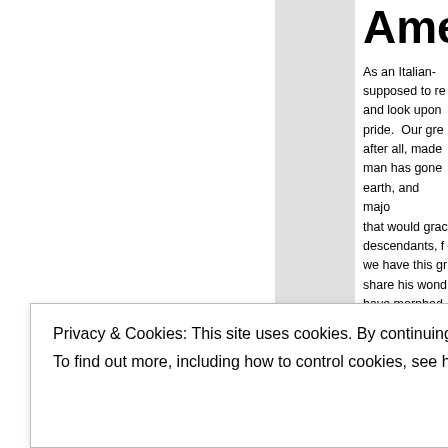Ameri
As an Italian- supposed to re and look upon pride.  Our gre after all, made man has gone earth, and majo that would gra descendants, f we have this g share his won have morphed makes us uniq
ot
carried out aga
Privacy & Cookies: This site uses cookies. By continuing to use this website, you agree to their use.
To find out more, including how to control cookies, see here: Cookie Policy
Close and accept